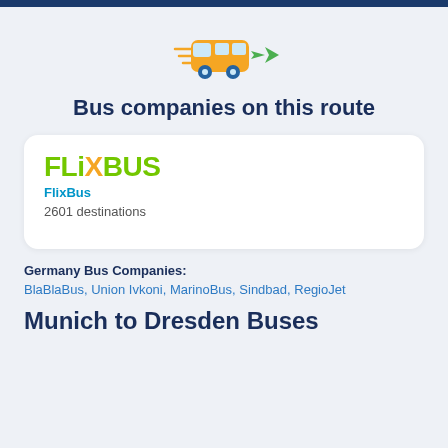[Figure (illustration): Bus icon with speed lines and a green arrow/cursor pointing at it from the right]
Bus companies on this route
[Figure (logo): FlixBus logo in green and blue, with 'FlixBus' subtitle and '2601 destinations' below]
Germany Bus Companies: BlaBlaBus, Union Ivkoni, MarinoBus, Sindbad, RegioJet
Munich to Dresden Buses